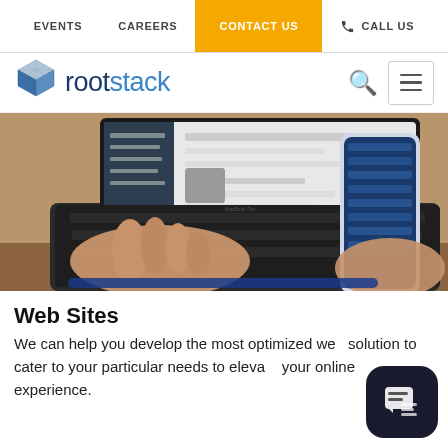EVENTS   CAREERS   CONTACT US   CALL US
[Figure (logo): Rootstack logo with cube icon and stylized text 'rootstack' in dark blue/teal]
[Figure (photo): Person typing on a MacBook Pro laptop keyboard while holding a smartphone with a blue-themed app visible on screen]
Web Sites
We can help you develop the most optimized web solution to cater to your particular needs to elevate your online experience.